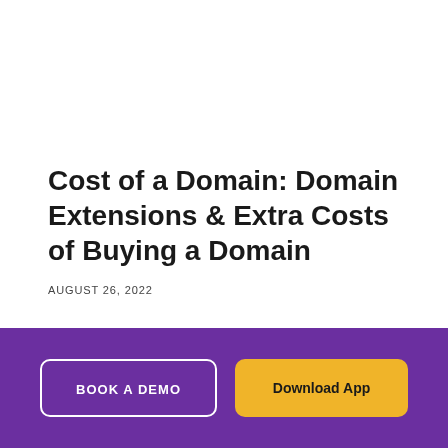Cost of a Domain: Domain Extensions & Extra Costs of Buying a Domain
AUGUST 26, 2022
BOOK A DEMO
Download App